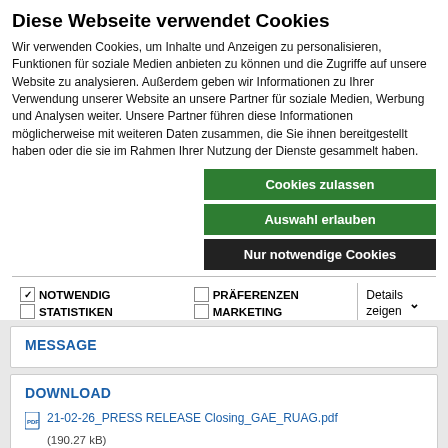Diese Webseite verwendet Cookies
Wir verwenden Cookies, um Inhalte und Anzeigen zu personalisieren, Funktionen für soziale Medien anbieten zu können und die Zugriffe auf unsere Website zu analysieren. Außerdem geben wir Informationen zu Ihrer Verwendung unserer Website an unsere Partner für soziale Medien, Werbung und Analysen weiter. Unsere Partner führen diese Informationen möglicherweise mit weiteren Daten zusammen, die Sie ihnen bereitgestellt haben oder die sie im Rahmen Ihrer Nutzung der Dienste gesammelt haben.
Cookies zulassen
Auswahl erlauben
Nur notwendige Cookies
NOTWENDIG  PRÄFERENZEN  STATISTIKEN  MARKETING  Details zeigen
MESSAGE
DOWNLOAD
21-02-26_PRESS RELEASE Closing_GAE_RUAG.pdf
(190.27 kB)